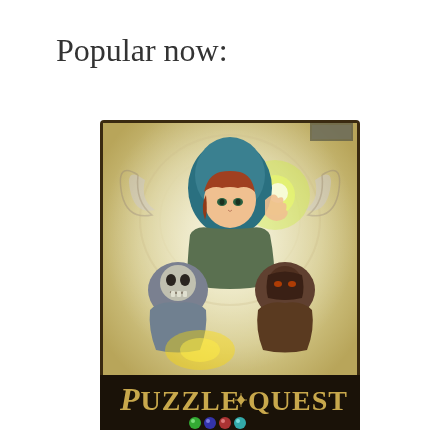Popular now:
[Figure (illustration): Puzzle Quest game cover art showing an anime-style female character wearing a teal hood with red hair, green eyes, raising one hand with a glowing orb. In the foreground are two armored/skeletal enemy characters. The bottom of the image shows the Puzzle Quest logo in ornate lettering with colored gems beneath it. The image has a fantasy RPG art style with warm yellowish tones and mystical swirling design elements in the background.]